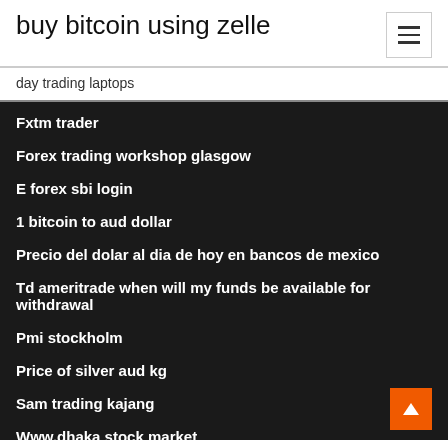buy bitcoin using zelle
day trading laptops
Fxtm trader
Forex trading workshop glasgow
E forex sbi login
1 bitcoin to aud dollar
Precio del dolar al dia de hoy en bancos de mexico
Td ameritrade when will my funds be available for withdrawal
Pmi stockholm
Price of silver aud kg
Sam trading kajang
Www.dhaka stock market